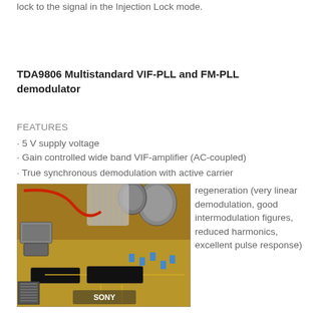lock to the signal in the Injection Lock mode.
TDA9806 Multistandard VIF-PLL and FM-PLL demodulator
FEATURES
· 5 V supply voltage
· Gain controlled wide band VIF-amplifier (AC-coupled)
· True synchronous demodulation with active carrier regeneration (very linear demodulation, good intermodulation figures, reduced harmonics, excellent pulse response)
[Figure (photo): Photo of a Sony circuit board with electronic components including capacitors, ICs, and wiring on a yellow PCB]